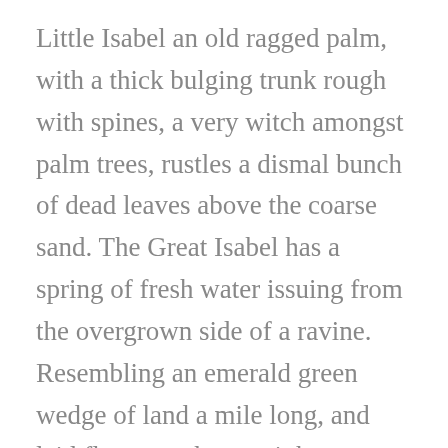Little Isabel an old ragged palm, with a thick bulging trunk rough with spines, a very witch amongst palm trees, rustles a dismal bunch of dead leaves above the coarse sand. The Great Isabel has a spring of fresh water issuing from the overgrown side of a ravine. Resembling an emerald green wedge of land a mile long, and laid flat upon the sea, it bears two forest trees standing close together, with a wide spread of shade at the foot of their smooth trunks. A ravine extending the whole length of the island is full of bushes; and presenting a deep tangled cleft on the high side spreads itself out on the other into a shallow depression abutting on a